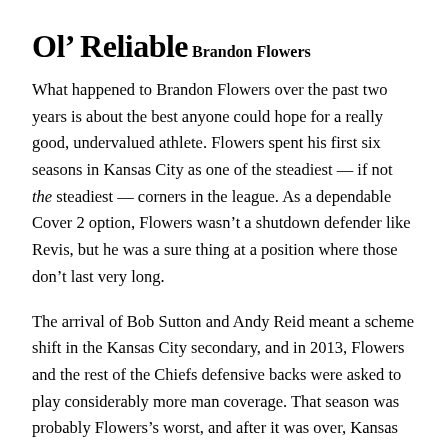Ol’ Reliable
Brandon Flowers
What happened to Brandon Flowers over the past two years is about the best anyone could hope for a really good, undervalued athlete. Flowers spent his first six seasons in Kansas City as one of the steadiest — if not the steadiest — corners in the league. As a dependable Cover 2 option, Flowers wasn’t a shutdown defender like Revis, but he was a sure thing at a position where those don’t last very long.
The arrival of Bob Sutton and Andy Reid meant a scheme shift in the Kansas City secondary, and in 2013, Flowers and the rest of the Chiefs defensive backs were asked to play considerably more man coverage. That season was probably Flowers’s worst, and after it was over, Kansas City cut a